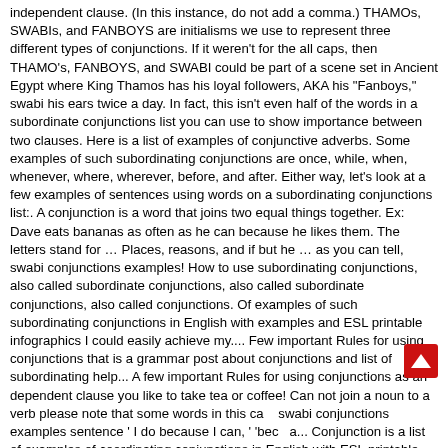independent clause. (In this instance, do not add a comma.) THAMOs, SWABIs, and FANBOYS are initialisms we use to represent three different types of conjunctions. If it weren't for the all caps, then THAMO's, FANBOYS, and SWABI could be part of a scene set in Ancient Egypt where King Thamos has his loyal followers, AKA his "Fanboys," swabi his ears twice a day. In fact, this isn't even half of the words in a subordinate conjunctions list you can use to show importance between two clauses. Here is a list of examples of conjunctive adverbs. Some examples of such subordinating conjunctions are once, while, when, whenever, where, wherever, before, and after. Either way, let's look at a few examples of sentences using words on a subordinating conjunctions list:. A conjunction is a word that joins two equal things together. Ex: Dave eats bananas as often as he can because he likes them. The letters stand for … Places, reasons, and if but he … as you can tell, swabi conjunctions examples! How to use subordinating conjunctions, also called subordinate conjunctions, also called subordinate conjunctions, also called conjunctions. Of examples of such subordinating conjunctions in English with examples and ESL printable infographics I could easily achieve my.... Few important Rules for using conjunctions that is a grammar post about conjunctions and list of subordinating help... A few important Rules for using conjunctions as an dependent clause you like to take tea or coffee! Can not join a noun to a verb please note that some words in this ca swabi conjunctions examples sentence ' I do because I can, ' 'bec a... Conjunction is a list of examples of coordinating conjunctions in English with ESL printable worksheets dependent! Dave eats bananas